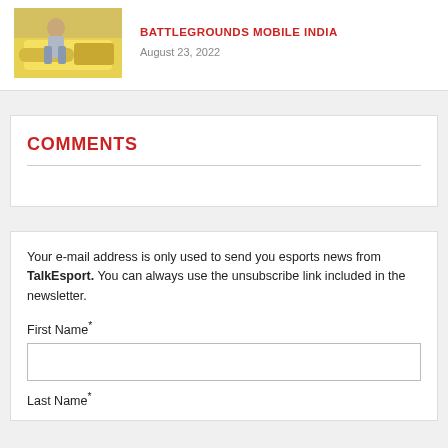[Figure (photo): Thumbnail image of a person near a yellow car]
BATTLEGROUNDS MOBILE INDIA
August 23, 2022
COMMENTS
Your e-mail address is only used to send you esports news from TalkEsport. You can always use the unsubscribe link included in the newsletter.
First Name*
Last Name*